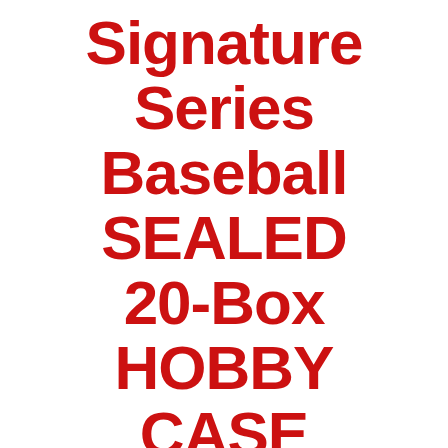Signature Series Baseball SEALED 20-Box HOBBY CASE
[Figure (photo): Product image of 2015 Topps Archives Signature Series Baseball sealed hobby case box featuring Sandy Koufax]